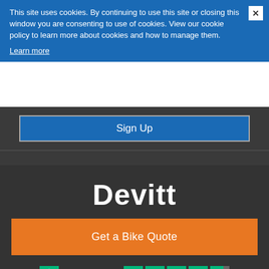This site uses cookies. By continuing to use this site or closing this window you are consenting to use of cookies. View our cookie policy to learn more about cookies and how to manage them.
Learn more
Sign Up
Devitt
Get a Bike Quote
[Figure (logo): Trustpilot logo with star rating (4 full stars and 1 partial star on green background)]
"Online quotation and cover system works well"